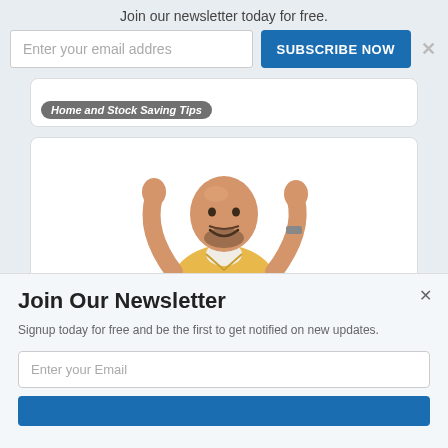Join our newsletter today for free.
Enter your email address
SUBSCRIBE NOW
[Figure (photo): Partial card image with blurred italic label text visible at the bottom]
[Figure (photo): A smiling bald man in a yellow shirt with both hands raised, shown against a white background inside a card]
When Will the Stock Market Recover
Filed Under: Tax Savings
Join Our Newsletter
Signup today for free and be the first to get notified on new updates.
Enter your Email